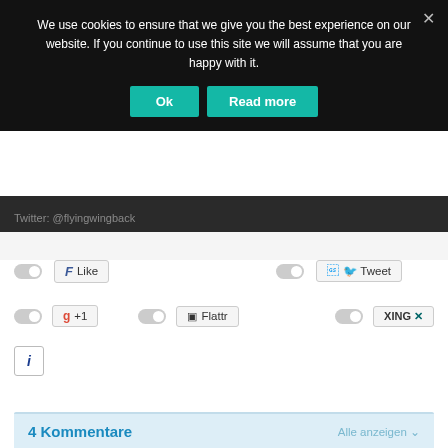We use cookies to ensure that we give you the best experience on our website. If you continue to use this site we will assume that you are happy with it.
Ok
Read more
Twitter: @flyingwingback
[Figure (screenshot): Social sharing buttons row 1: Like (Facebook) and Tweet (Twitter) with toggle switches]
[Figure (screenshot): Social sharing buttons row 2: Google +1, Flattr, and XING with toggle switches]
[Figure (screenshot): Info icon button]
4 Kommentare
Alle anzeigen ∨